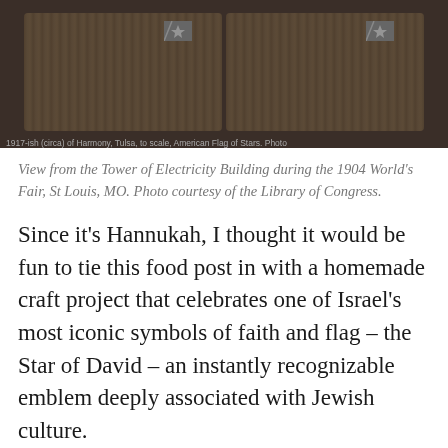[Figure (photo): Stereograph photograph from the Tower of Electricity Building during the 1904 World's Fair, St Louis, MO. Shows two side-by-side sepia-toned panels of the fair scene with flags visible.]
View from the Tower of Electricity Building during the 1904 World's Fair, St Louis, MO. Photo courtesy of the Library of Congress.
Since it's Hannukah, I thought it would be fun to tie this food post in with a homemade craft project that celebrates one of Israel's most iconic symbols of faith and flag – the Star of David – an instantly recognizable emblem deeply associated with Jewish culture.
Advertisements
[Figure (logo): AUTOMATTIC logo text with a circular 'O' icon]
Advertisements
[Figure (photo): Seamless food delivery advertisement banner showing pizza on the left, the Seamless red pill logo in the center, and an ORDER NOW button on the right against a dark background.]